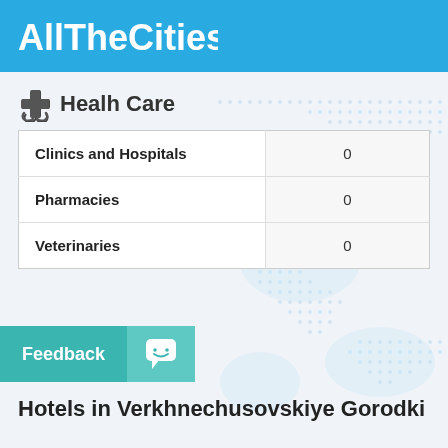AllTheCities
Healh Care
|  |  |
| --- | --- |
| Clinics and Hospitals | 0 |
| Pharmacies | 0 |
| Veterinaries | 0 |
Feedback
Hotels in Verkhnechusovskiye Gorodki